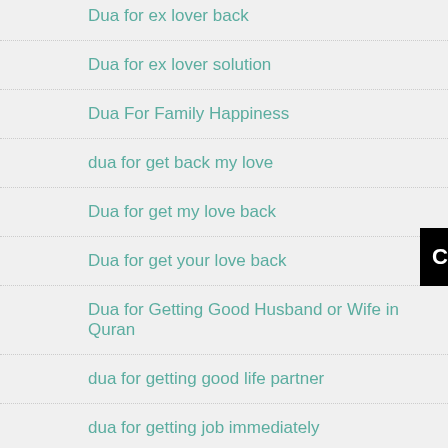Dua for ex lover back
Dua for ex lover solution
Dua For Family Happiness
dua for get back my love
Dua for get my love back
Dua for get your love back
Dua for Getting Good Husband or Wife in Quran
dua for getting good life partner
dua for getting job immediately
dua for getting love marriage